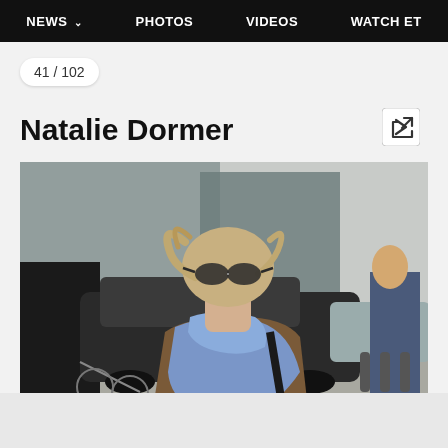NEWS  PHOTOS  VIDEOS  WATCH ET
41 / 102
Natalie Dormer
[Figure (photo): Natalie Dormer walking on a city street, wearing sunglasses, a brown houndstooth coat, and a large blue scarf. City traffic and pedestrians visible in the background.]